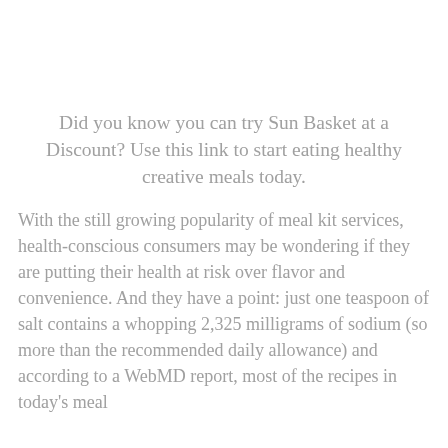Did you know you can try Sun Basket at a Discount? Use this link to start eating healthy creative meals today.
With the still growing popularity of meal kit services, health-conscious consumers may be wondering if they are putting their health at risk over flavor and convenience. And they have a point: just one teaspoon of salt contains a whopping 2,325 milligrams of sodium (so more than the recommended daily allowance) and according to a WebMD report, most of the recipes in today's meal